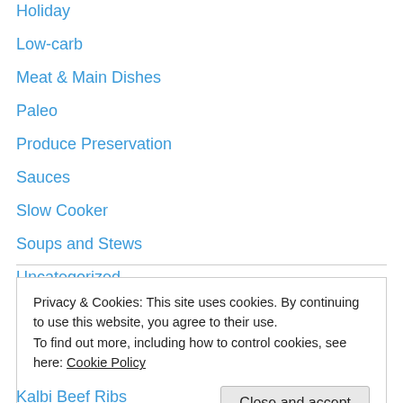Holiday
Low-carb
Meat & Main Dishes
Paleo
Produce Preservation
Sauces
Slow Cooker
Soups and Stews
Uncategorized
Vegetables and Side Dishes
Vegetarian
Whole30
Privacy & Cookies: This site uses cookies. By continuing to use this website, you agree to their use. To find out more, including how to control cookies, see here: Cookie Policy
Kalbi Beef Ribs